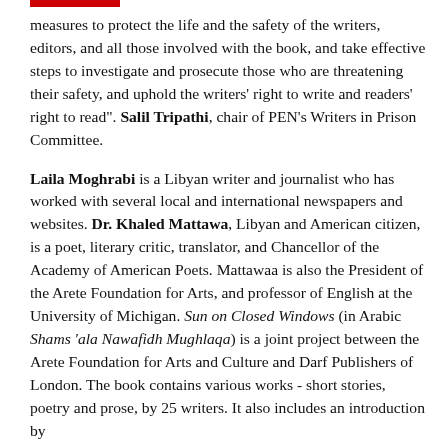measures to protect the life and the safety of the writers, editors, and all those involved with the book, and take effective steps to investigate and prosecute those who are threatening their safety, and uphold the writers' right to write and readers' right to read". Salil Tripathi, chair of PEN's Writers in Prison Committee.
Laila Moghrabi is a Libyan writer and journalist who has worked with several local and international newspapers and websites. Dr. Khaled Mattawa, Libyan and American citizen, is a poet, literary critic, translator, and Chancellor of the Academy of American Poets. Mattawaa is also the President of the Arete Foundation for Arts, and professor of English at the University of Michigan. Sun on Closed Windows (in Arabic Shams 'ala Nawafidh Mughlaqa) is a joint project between the Arete Foundation for Arts and Culture and Darf Publishers of London. The book contains various works - short stories, poetry and prose, by 25 writers. It also includes an introduction by